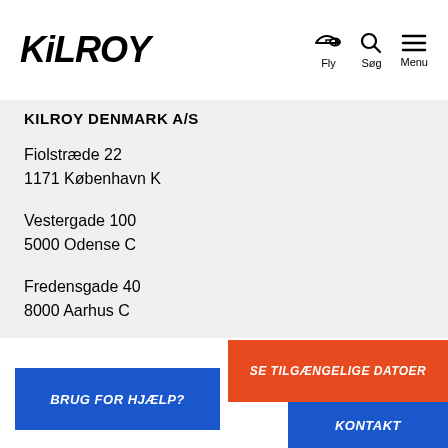KiLROY | Fly | Søg | Menu
KILROY DENMARK A/S
Fiolstræde 22
1171 København K
Vestergade 100
5000 Odense C
Fredensgade 40
8000 Aarhus C
CVR: 1115 33 80
BRUG FOR HJÆLP?
SE TILGÆNGELIGE DATOER
KONTAKT